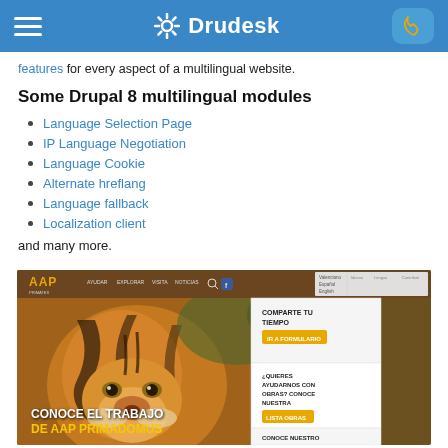Drudesk
features for every aspect of a multilingual website.
Some Drupal 8 multilingual modules
Language Selection Page
IP Language Negotiation
Language Cookie
Alternate hreflang
Language fallback
Localization client
and many more.
[Figure (screenshot): Screenshot of AAP website showing a tiger image with Spanish text 'CONOCE EL TRABAJO DE AAP PRIMADOMUS' and a language selection widget on the right side]